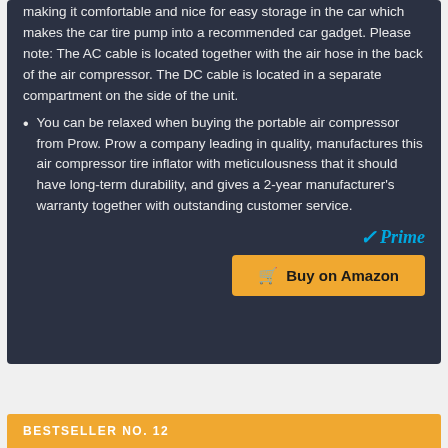making it comfortable and nice for easy storage in the car which makes the car tire pump into a recommended car gadget. Please note: The AC cable is located together with the air hose in the back of the air compressor. The DC cable is located in a separate compartment on the side of the unit.
You can be relaxed when buying the portable air compressor from Prow. Prow a company leading in quality, manufactures this air compressor tire inflator with meticulousness that it should have long-term durability, and gives a 2-year manufacturer's warranty together with outstanding customer service.
[Figure (logo): Amazon Prime badge with checkmark and 'Prime' text in blue italic]
Buy on Amazon
BESTSELLER NO. 12